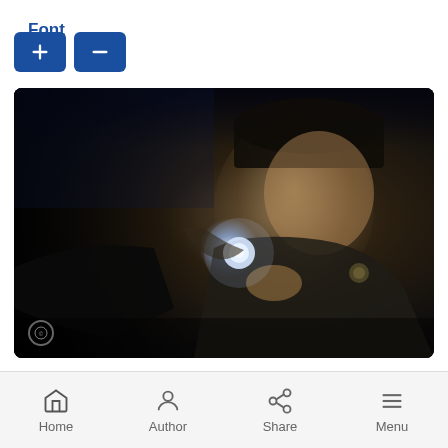Font Size
[Figure (screenshot): Two blue buttons with up and down arrows for increasing/decreasing font size]
[Figure (photo): Dark scene showing a police officer in uniform shining a flashlight, appearing to confront someone. A CBS watermark is visible in the lower left corner.]
For much of the 2020-21 television season, network
[Figure (screenshot): Mobile navigation bar with Home, Author, Share, and Menu icons]